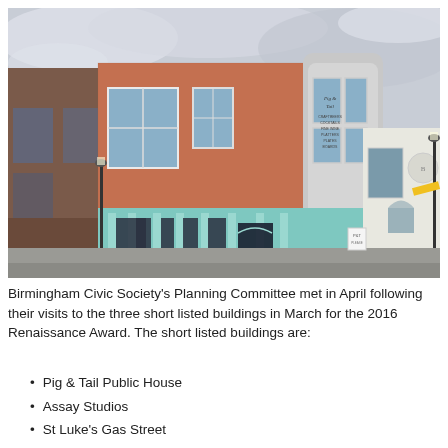[Figure (photo): Photograph of the Pig & Tail Public House, a Victorian corner pub building with teal/mint green painted ground floor shopfront, red brick upper floors with bay windows, and a curved corner tower displaying the 'Pig & Tail' sign. The building is situated on a street corner.]
Birmingham Civic Society's Planning Committee met in April following their visits to the three short listed buildings in March for the 2016 Renaissance Award. The short listed buildings are:
Pig & Tail Public House
Assay Studios
St Luke's Gas Street